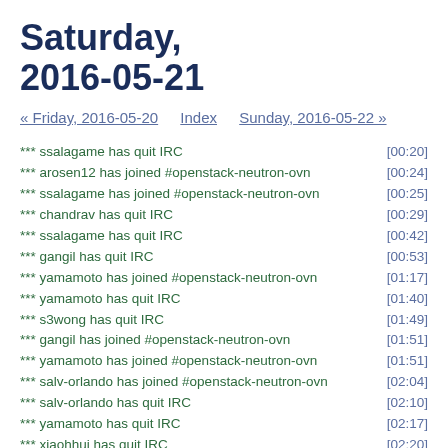Saturday, 2016-05-21
« Friday, 2016-05-20   Index   Sunday, 2016-05-22 »
*** ssalagame has quit IRC [00:20]
*** arosen12 has joined #openstack-neutron-ovn [00:24]
*** ssalagame has joined #openstack-neutron-ovn [00:25]
*** chandrav has quit IRC [00:29]
*** ssalagame has quit IRC [00:42]
*** gangil has quit IRC [00:53]
*** yamamoto has joined #openstack-neutron-ovn [01:17]
*** yamamoto has quit IRC [01:40]
*** s3wong has quit IRC [01:49]
*** gangil has joined #openstack-neutron-ovn [01:51]
*** yamamoto has joined #openstack-neutron-ovn [01:51]
*** salv-orlando has joined #openstack-neutron-ovn [02:04]
*** salv-orlando has quit IRC [02:10]
*** yamamoto has quit IRC [02:17]
*** xiaohhui has quit IRC [02:20]